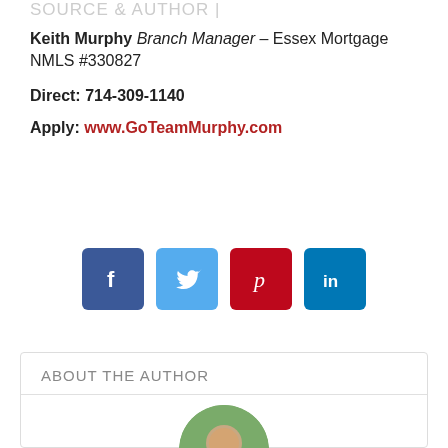SOURCE & AUTHOR |
Keith Murphy Branch Manager – Essex Mortgage NMLS #330827
Direct: 714-309-1140
Apply: www.GoTeamMurphy.com
[Figure (infographic): Four social media icon buttons: Facebook (dark blue), Twitter (light blue), Pinterest (red), LinkedIn (blue)]
ABOUT THE AUTHOR
[Figure (photo): Circular portrait photo of author, partially visible at bottom of page]